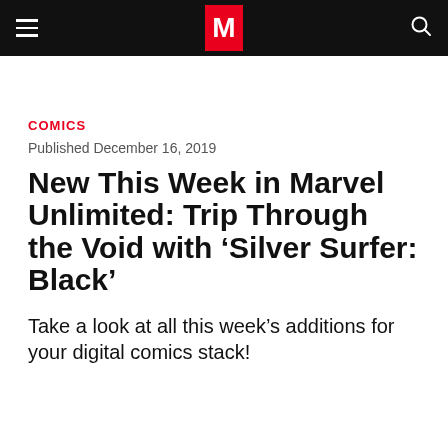M
COMICS
Published December 16, 2019
New This Week in Marvel Unlimited: Trip Through the Void with ‘Silver Surfer: Black’
Take a look at all this week’s additions for your digital comics stack!